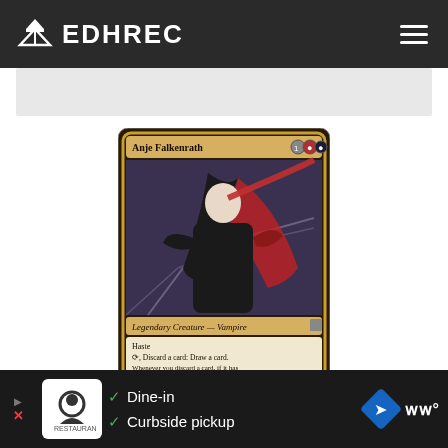EDHREC
[Figure (illustration): Magic: The Gathering card - Anje Falkenrath. Legendary Creature - Vampire with 1/3 power/toughness. Cost: 1BR. Abilities: Haste; T, Discard a card: Draw a card; Whenever you discard a card, if it has madness, untap Anje Falkenrath. Flavor text: We all hide a little madness behind our sophistication, do we not?]
$0.99  $0.73  CSI $1.49
[Figure (photo): Advertisement banner at bottom: Dine-in, Curbside pickup options shown]